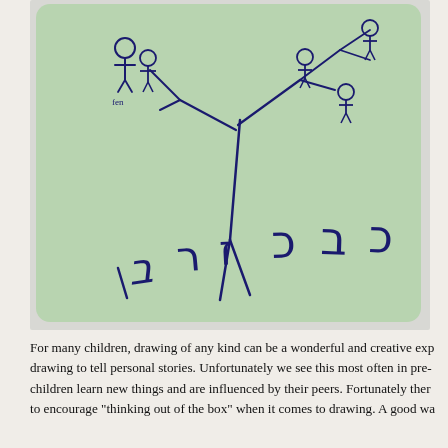[Figure (illustration): A child's drawing on a light green card. The drawing shows a stick figure with branching arms holding various small stick figures or objects. Below the figure are handwritten letters or characters resembling a child's attempt at writing, appearing to be in Hebrew or a child's invented script.]
For many children, drawing of any kind can be a wonderful and creative exp drawing to tell personal stories. Unfortunately we see this most often in pre- children learn new things and are influenced by their peers. Fortunately ther to encourage "thinking out of the box" when it comes to drawing. A good wa